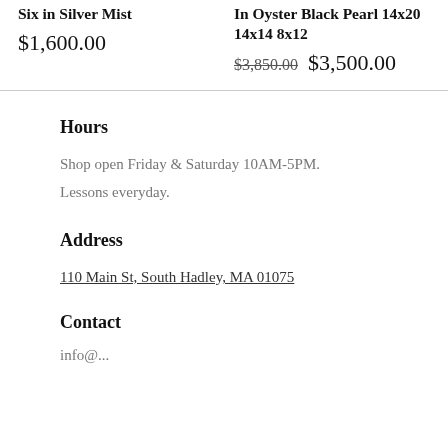Six in Silver Mist
$1,600.00
In Oyster Black Pearl 14x20 14x14 8x12
$3,850.00  $3,500.00
Hours
Shop open Friday & Saturday 10AM-5PM.
Lessons everyday.
Address
110 Main St, South Hadley, MA 01075
Contact
info@...